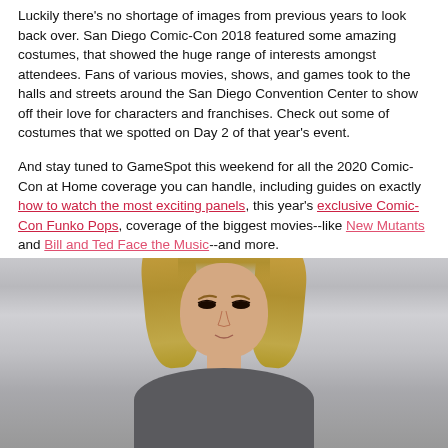Luckily there's no shortage of images from previous years to look back over. San Diego Comic-Con 2018 featured some amazing costumes, that showed the huge range of interests amongst attendees. Fans of various movies, shows, and games took to the halls and streets around the San Diego Convention Center to show off their love for characters and franchises. Check out some of costumes that we spotted on Day 2 of that year's event.
And stay tuned to GameSpot this weekend for all the 2020 Comic-Con at Home coverage you can handle, including guides on exactly how to watch the most exciting panels, this year's exclusive Comic-Con Funko Pops, coverage of the biggest movies--like New Mutants and Bill and Ted Face the Music--and more.
[Figure (photo): Photo of a blonde woman from the shoulders up, appearing to be at an indoor/convention setting with a light gray background. Her long blonde highlighted hair falls around her face and shoulders.]